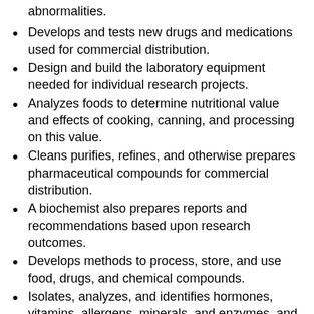abnormalities.
Develops and tests new drugs and medications used for commercial distribution.
Design and build the laboratory equipment needed for individual research projects.
Analyzes foods to determine nutritional value and effects of cooking, canning, and processing on this value.
Cleans purifies, refines, and otherwise prepares pharmaceutical compounds for commercial distribution.
A biochemist also prepares reports and recommendations based upon research outcomes.
Develops methods to process, store, and use food, drugs, and chemical compounds.
Isolates, analyzes, and identifies hormones, vitamins, allergens, minerals, and enzymes, and determines their effects on body functions.